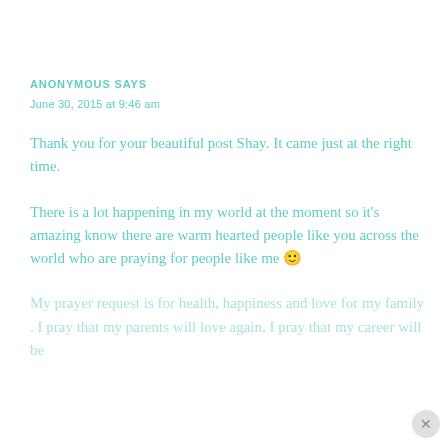ANONYMOUS SAYS
June 30, 2015 at 9:46 am
Thank you for your beautiful post Shay. It came just at the right time.
There is a lot happening in my world at the moment so it's amazing know there are warm hearted people like you across the world who are praying for people like me 🙂
My prayer request is for health, happiness and love for my family . I pray that my parents will love again, I pray that my career will be